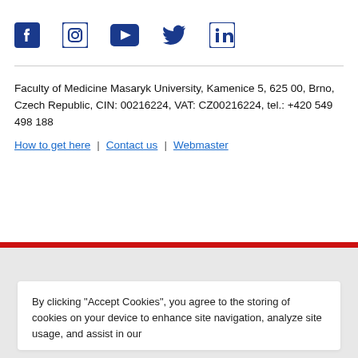[Figure (infographic): Social media icons row: Facebook, Instagram, YouTube, Twitter, LinkedIn — all in dark blue]
Faculty of Medicine Masaryk University, Kamenice 5, 625 00, Brno, Czech Republic, CIN: 00216224, VAT: CZ00216224, tel.: +420 549 498 188
How to get here | Contact us | Webmaster
By clicking “Accept Cookies”, you agree to the storing of cookies on your device to enhance site navigation, analyze site usage, and assist in our